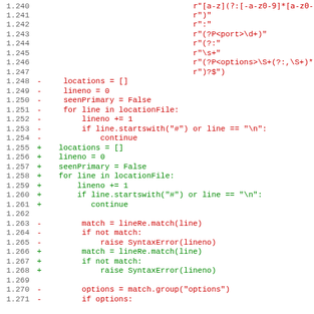[Figure (screenshot): Code diff view showing Python source lines 1.240–1.271 with removed lines (red, marked with -) and added lines (green, marked with +). Content includes regex string fragments, variable assignments (locations, lineno, seenPrimary), for-loop, conditional checks, and match/SyntaxError calls.]